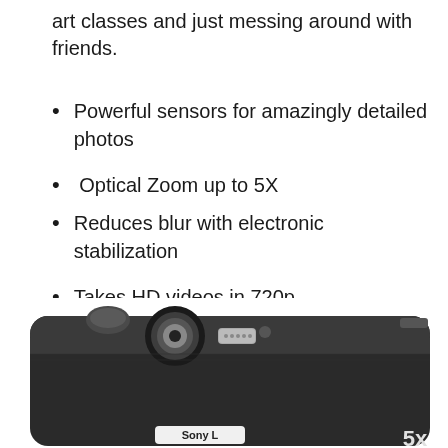art classes and just messing around with friends.
Powerful sensors for amazingly detailed photos
Optical Zoom up to 5X
Reduces blur with electronic stabilization
Takes HD videos in 720p
Built in Easy Mode for simple use
Sony's own Lens with F3.2 (W) – 6.4 (T) Maximum Aperture
[Figure (photo): Black Sony compact digital camera shown from a top-front angle, with lens visible and '5x' label on the front, in black and white.]